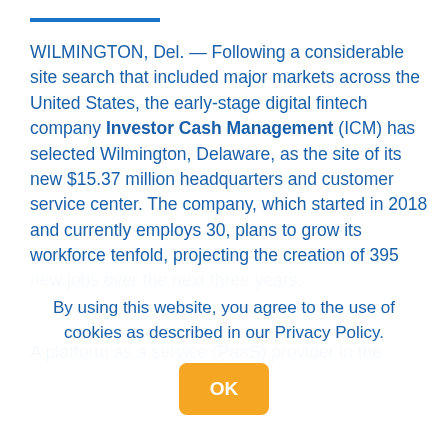WILMINGTON, Del. — Following a considerable site search that included major markets across the United States, the early-stage digital fintech company Investor Cash Management (ICM) has selected Wilmington, Delaware, as the site of its new $15.37 million headquarters and customer service center. The company, which started in 2018 and currently employs 30, plans to grow its workforce tenfold, projecting the creation of 395 new jobs over the next three years.
A platform as a service (PaaS) provider in the
By using this website, you agree to the use of cookies as described in our Privacy Policy.